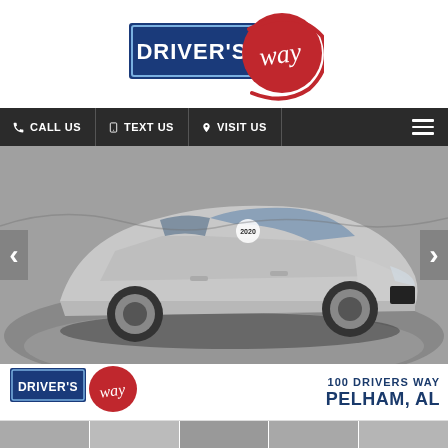[Figure (logo): Driver's Way logo with blue rectangle containing 'DRIVER'S' text and red circular brushstroke containing 'way' handwritten text]
📞 CALL US | 📱 TEXT US | 📍 VISIT US
[Figure (photo): Silver Hyundai Sonata sedan photographed in a studio setting from a three-quarter front angle, with left and right navigation arrows on either side]
[Figure (logo): Driver's Way logo (smaller version) at bottom left]
100 DRIVERS WAY
PELHAM, AL
[Figure (photo): Thumbnail strip of car images at very bottom of page]